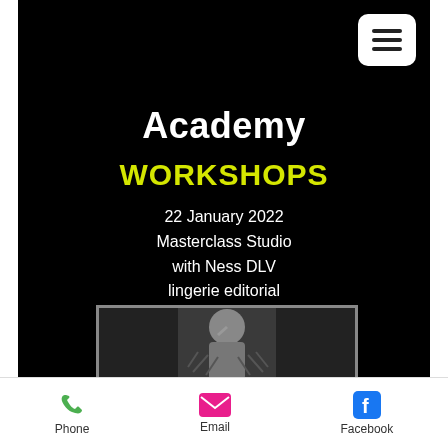[Figure (screenshot): Mobile website screenshot showing Academy Workshops page with black background, menu button, event info, and partial photo of model]
Academy
WORKSHOPS
22 January 2022
Masterclass Studio
with Ness DLV
lingerie editorial
[Figure (photo): Black and white photo of a woman in a fur-trimmed outfit posing with hand near face]
Phone   Email   Facebook